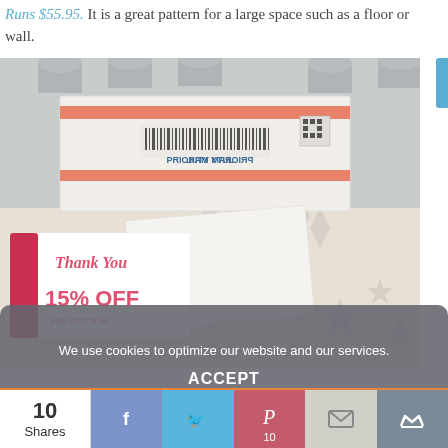Runs $55.95. It is a great pattern for a large space such as a floor or wall.
[Figure (photo): A USPS Priority Mail box on a decorative surface with a 'Thank You 15% OFF your next order' coupon card in front]
We use cookies to optimize our website and our services.
ACCEPT
10 Shares